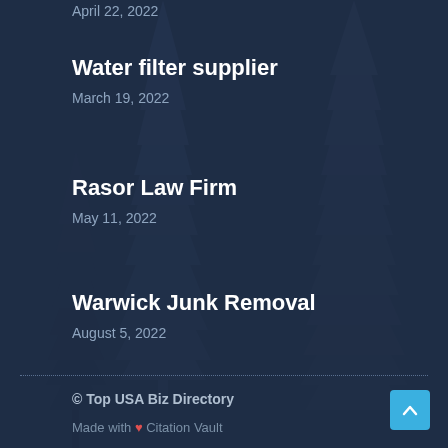April 22, 2022
Water filter supplier
March 19, 2022
Rasor Law Firm
May 11, 2022
Warwick Junk Removal
August 5, 2022
© Top USA Biz Directory
Made with ♥ Citation Vault